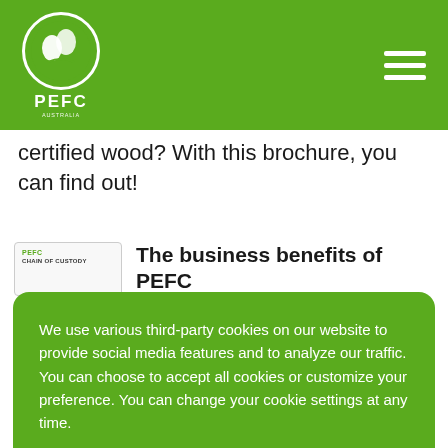PEFC
certified wood? With this brochure, you can find out!
[Figure (other): PEFC Chain of Custody brochure thumbnail]
The business benefits of PEFC
We use various third-party cookies on our website to provide social media features and to analyze our traffic. You can choose to accept all cookies or customize your preference. You can change your cookie settings at any time.
Accept cookies
Cookie settings